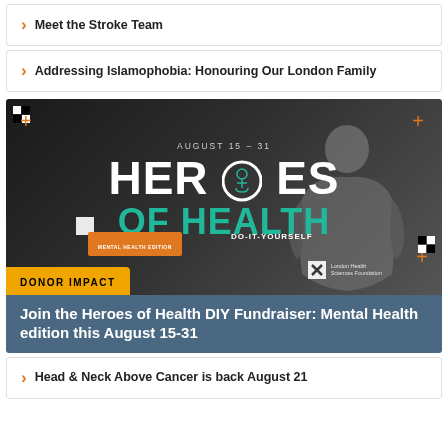Meet the Stroke Team
Addressing Islamophobia: Honouring Our London Family
[Figure (infographic): Heroes of Health DIY Fundraiser Mental Health Edition promotional image. Dark background with a person sitting hunched over. Text reads AUGUST 15 - 31, HEROES OF HEALTH, OF HEALTH, MENTAL HEALTH EDITION, DO-IT-YOURSELF. London Health Sciences Foundation logo. Yellow DONOR IMPACT banner.]
Join the Heroes of Health DIY Fundraiser: Mental Health edition this August 15-31
Head & Neck Above Cancer is back August 21